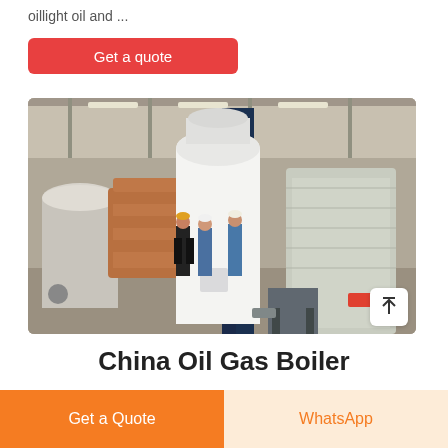oillight oil and ...
Get a quote
[Figure (photo): Factory warehouse interior showing large industrial boilers. A tall white cylindrical boiler with dark blue frame stands in the center. Workers in hard hats are visible in the background. Other wrapped equipment is visible on the right.]
China Oil Gas Boiler
Get a Quote
WhatsApp